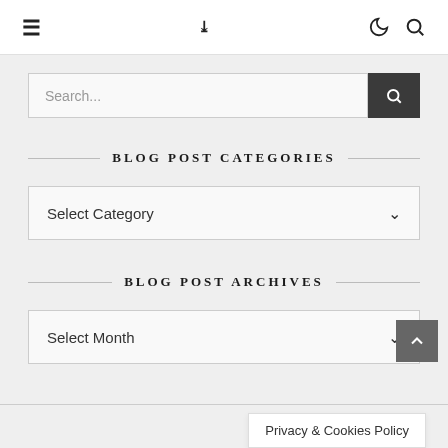☰  ❯❯  ☽  🔍
[Figure (screenshot): Search input box with dark search button on grey background]
BLOG POST CATEGORIES
[Figure (screenshot): Select Category dropdown box]
BLOG POST ARCHIVES
[Figure (screenshot): Select Month dropdown box with back-to-top arrow button]
Privacy & Cookies Policy